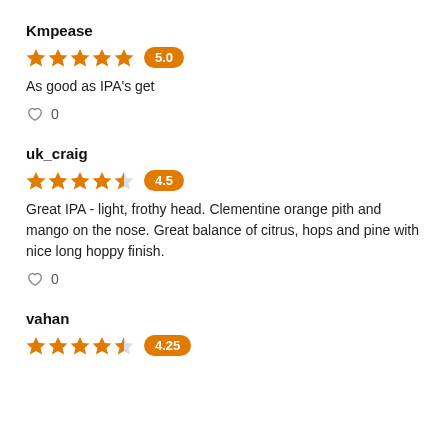Kmpease
[Figure (infographic): 5 filled orange stars rating with score badge showing 5.0]
As good as IPA's get
♡ 0
uk_craig
[Figure (infographic): 4.5 orange stars rating (4 full, 1 half) with score badge showing 4.5]
Great IPA - light, frothy head. Clementine orange pith and mango on the nose. Great balance of citrus, hops and pine with nice long hoppy finish.
♡ 0
vahan
[Figure (infographic): 4.25 orange stars rating (4 full, 1 half) with score badge showing 4.25]